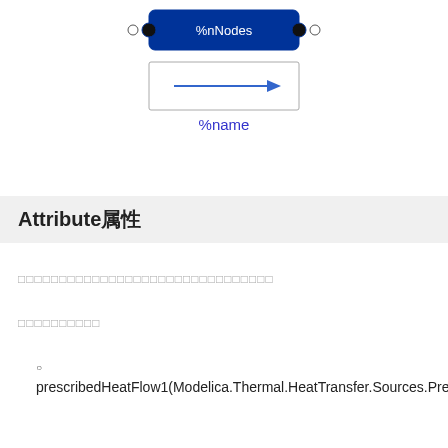[Figure (schematic): A block diagram showing a component labeled '%nNodes' with two filled circle connectors on left and right, and an arrow pointing right below it, with '%name' label underneath.]
Attribute属性
□□□□□□□□□□□□□□□□□□□□□□□□□□□□□□□
□□□□□□□□□□
prescribedHeatFlow1(Modelica.Thermal.HeatTransfer.Sources.PrescribedHeatFlow)